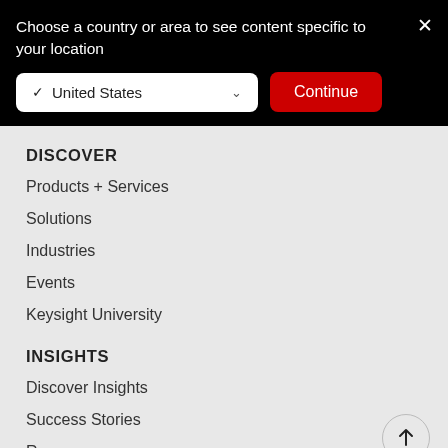Choose a country or area to see content specific to your location
✓ United States ∨
Continue
DISCOVER
Products + Services
Solutions
Industries
Events
Keysight University
INSIGHTS
Discover Insights
Success Stories
Resources